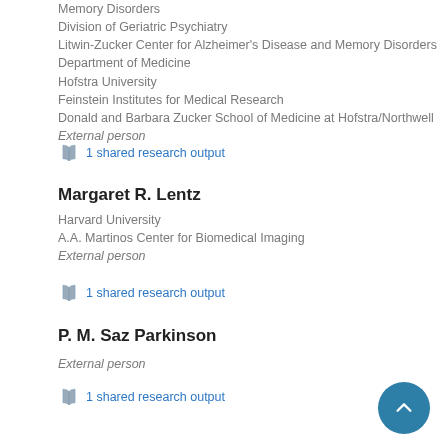Memory Disorders
Division of Geriatric Psychiatry
Litwin-Zucker Center for Alzheimer's Disease and Memory Disorders
Department of Medicine
Hofstra University
Feinstein Institutes for Medical Research
Donald and Barbara Zucker School of Medicine at Hofstra/Northwell
External person
1 shared research output
Margaret R. Lentz
Harvard University
A.A. Martinos Center for Biomedical Imaging
External person
1 shared research output
P. M. Saz Parkinson
External person
1 shared research output